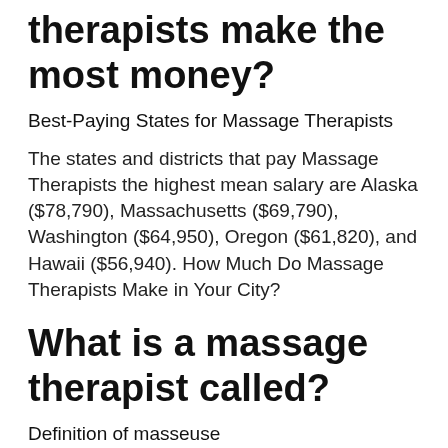therapists make the most money?
Best-Paying States for Massage Therapists
The states and districts that pay Massage Therapists the highest mean salary are Alaska ($78,790), Massachusetts ($69,790), Washington ($64,950), Oregon ($61,820), and Hawaii ($56,940). How Much Do Massage Therapists Make in Your City?
What is a massage therapist called?
Definition of masseuse